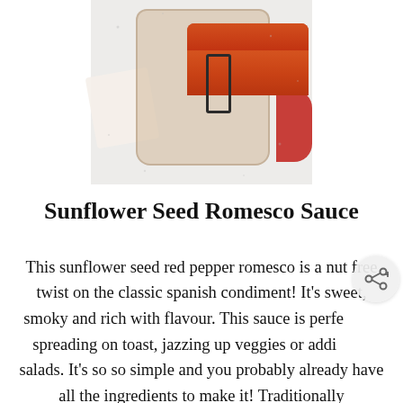[Figure (photo): Top-down photo of a glass jar filled with red sunflower seed romesco sauce, with a metal clip latch, sitting on a white speckled surface with a cloth napkin and red pepper visible at the edges.]
Sunflower Seed Romesco Sauce
This sunflower seed red pepper romesco is a nut free twist on the classic spanish condiment! It’s sweet, smoky and rich with flavour. This sauce is perfect for spreading on toast, jazzing up veggies or adding to salads. It’s so so simple and you probably already have all the ingredients to make it! Traditionally romesco